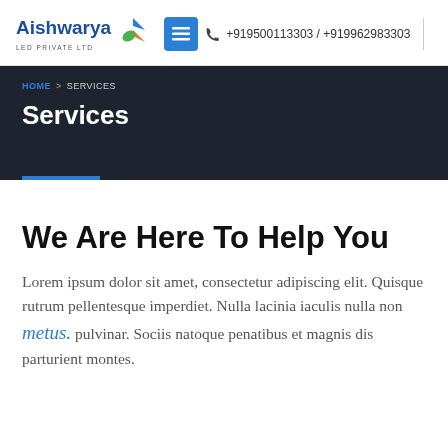[Figure (logo): Aishwarya LED Private Ltd logo with stylized leaf/arrow icon in blue, orange, green]
+919500113303 / +919962983303
HOME > SERVICES
Services
We Are Here To Help You
Lorem ipsum dolor sit amet, consectetur adipiscing elit. Quisque rutrum pellentesque imperdiet. Nulla lacinia iaculis nulla non metus. pulvinar. Sociis natoque penatibus et magnis dis parturient montes.